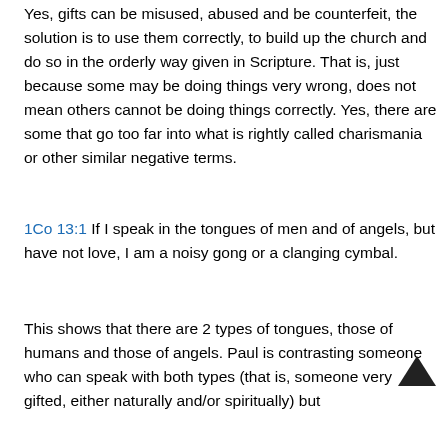Yes, gifts can be misused, abused and be counterfeit, the solution is to use them correctly, to build up the church and do so in the orderly way given in Scripture. That is, just because some may be doing things very wrong, does not mean others cannot be doing things correctly. Yes, there are some that go too far into what is rightly called charismania or other similar negative terms.
1Co 13:1 If I speak in the tongues of men and of angels, but have not love, I am a noisy gong or a clanging cymbal.
This shows that there are 2 types of tongues, those of humans and those of angels. Paul is contrasting someone who can speak with both types (that is, someone very gifted, either naturally and/or spiritually) but...